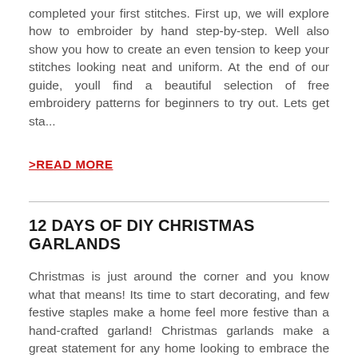completed your first stitches. First up, we will explore how to embroider by hand step-by-step. Well also show you how to create an even tension to keep your stitches looking neat and uniform. At the end of our guide, youll find a beautiful selection of free embroidery patterns for beginners to try out. Lets get sta...
>READ MORE
12 DAYS OF DIY CHRISTMAS GARLANDS
Christmas is just around the corner and you know what that means! Its time to start decorating, and few festive staples make a home feel more festive than a hand-crafted garland! Christmas garlands make a great statement for any home looking to embrace the seasonal spirit. They add sparkle to unassuming areas, transforming plain staircases and functional mantlepieces become a focal point of the room. Even better, garlands offer an affordable way to turn a home into a winter wonderland. Customisable and personalised, handmade